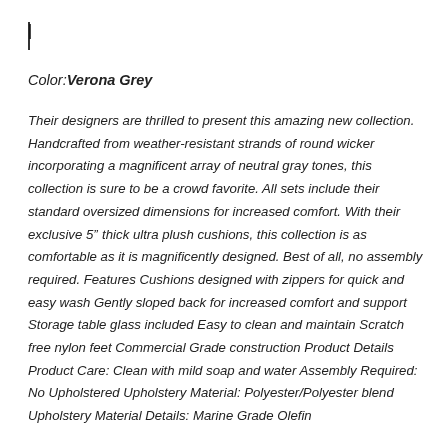|
Color: Verona Grey
Their designers are thrilled to present this amazing new collection. Handcrafted from weather-resistant strands of round wicker incorporating a magnificent array of neutral gray tones, this collection is sure to be a crowd favorite. All sets include their standard oversized dimensions for increased comfort. With their exclusive 5” thick ultra plush cushions, this collection is as comfortable as it is magnificently designed. Best of all, no assembly required. Features Cushions designed with zippers for quick and easy wash Gently sloped back for increased comfort and support Storage table glass included Easy to clean and maintain Scratch free nylon feet Commercial Grade construction Product Details Product Care: Clean with mild soap and water Assembly Required: No Upholstered Upholstery Material: Polyester/Polyester blend Upholstery Material Details: Marine Grade Olefin